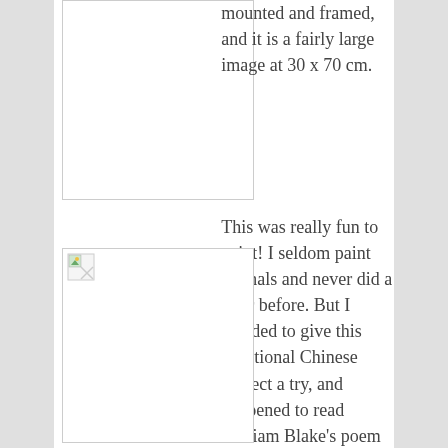[Figure (photo): Top image placeholder, broken/missing image, mounted and framed artwork]
mounted and framed, and it is a fairly large image at 30 x 70 cm.
This was really fun to paint! I seldom paint animals and never did a tiger before. But I decided to give this traditional Chinese subject a try, and happened to read William Blake's poem at the same time. I like the
[Figure (photo): Second image placeholder, broken/missing image icon visible]